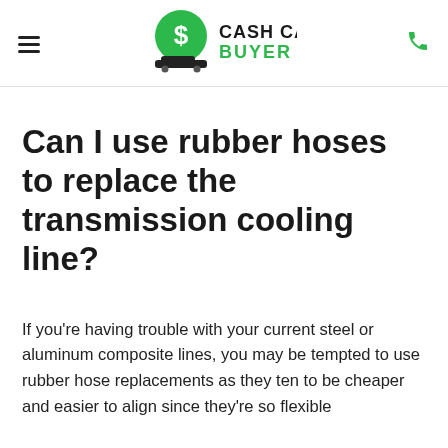Cash Cars Buyer — navigation header with hamburger menu, logo, and phone icon
Can I use rubber hoses to replace the transmission cooling line?
If you're having trouble with your current steel or aluminum composite lines, you may be tempted to use rubber hose replacements as they ten to be cheaper and easier to align since they're so flexible